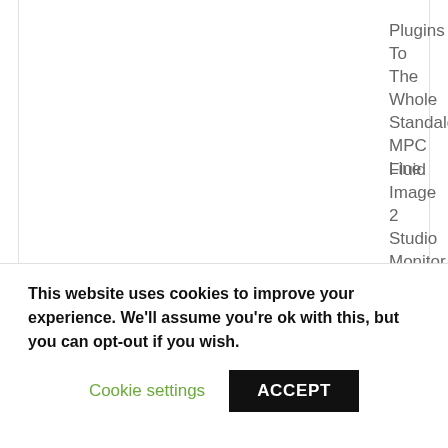Plugins To The Whole Standalone MPC Line
Fluid Image 2 Studio Monitor – Two Monitors In One
Interviews
This website uses cookies to improve your experience. We'll assume you're ok with this, but you can opt-out if you wish.
Cookie settings
ACCEPT